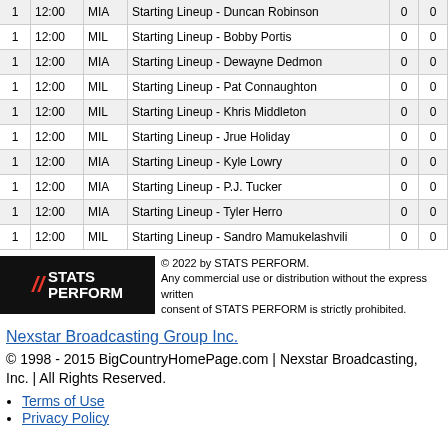|  |  |  |  | 0 | 0 |
| --- | --- | --- | --- | --- | --- |
| 1 | 12:00 | MIA | Starting Lineup - Duncan Robinson | 0 | 0 |
| 1 | 12:00 | MIL | Starting Lineup - Bobby Portis | 0 | 0 |
| 1 | 12:00 | MIA | Starting Lineup - Dewayne Dedmon | 0 | 0 |
| 1 | 12:00 | MIL | Starting Lineup - Pat Connaughton | 0 | 0 |
| 1 | 12:00 | MIL | Starting Lineup - Khris Middleton | 0 | 0 |
| 1 | 12:00 | MIL | Starting Lineup - Jrue Holiday | 0 | 0 |
| 1 | 12:00 | MIA | Starting Lineup - Kyle Lowry | 0 | 0 |
| 1 | 12:00 | MIA | Starting Lineup - P.J. Tucker | 0 | 0 |
| 1 | 12:00 | MIA | Starting Lineup - Tyler Herro | 0 | 0 |
| 1 | 12:00 | MIL | Starting Lineup - Sandro Mamukelashvili | 0 | 0 |
[Figure (logo): STATS PERFORM logo with red and orange slashes on black background]
© 2022 by STATS PERFORM. Any commercial use or distribution without the express written consent of STATS PERFORM is strictly prohibited.
Nexstar Broadcasting Group Inc.
© 1998 - 2015 BigCountryHomePage.com | Nexstar Broadcasting, Inc. | All Rights Reserved.
Terms of Use
Privacy Policy